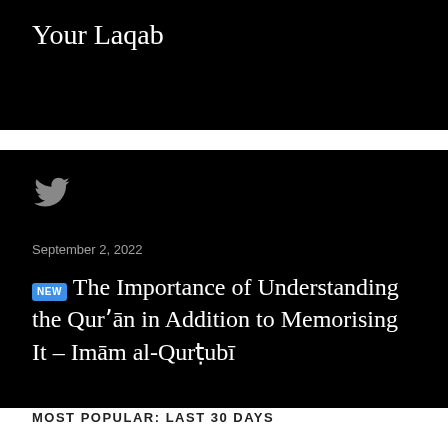Your Laqab
September 2, 2022
NEW The Importance of Understanding the Qur'ān in Addition to Memorising It – Imām al-Qurṭubī
MOST POPULAR: LAST 30 DAYS